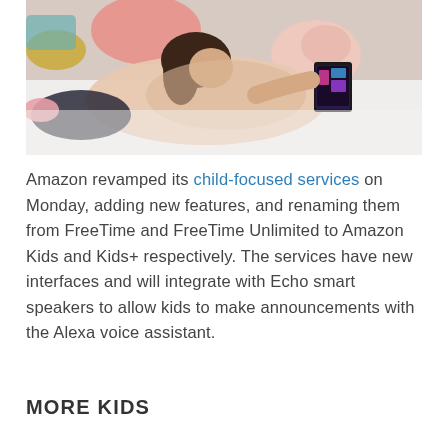[Figure (photo): A girl lying on a white carpet, wearing a light pink knit sweater and dark patterned leggings, looking at a small tablet device. Colorful pillows are visible in the background.]
Amazon revamped its child-focused services on Monday, adding new features, and renaming them from FreeTime and FreeTime Unlimited to Amazon Kids and Kids+ respectively. The services have new interfaces and will integrate with Echo smart speakers to allow kids to make announcements with the Alexa voice assistant.
MORE KIDS